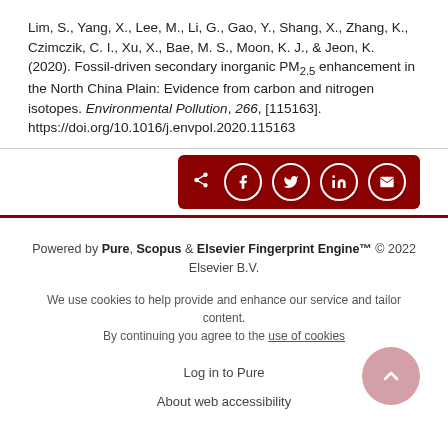Lim, S., Yang, X., Lee, M., Li, G., Gao, Y., Shang, X., Zhang, K., Czimczik, C. I., Xu, X., Bae, M. S., Moon, K. J., & Jeon, K. (2020). Fossil-driven secondary inorganic PM2.5 enhancement in the North China Plain: Evidence from carbon and nitrogen isotopes. Environmental Pollution, 266, [115163]. https://doi.org/10.1016/j.envpol.2020.115163
[Figure (other): Share bar with dark red background containing share icon and social media buttons: Facebook, Twitter, LinkedIn, Email]
Powered by Pure, Scopus & Elsevier Fingerprint Engine™ © 2022 Elsevier B.V.
We use cookies to help provide and enhance our service and tailor content. By continuing you agree to the use of cookies
Log in to Pure
About web accessibility